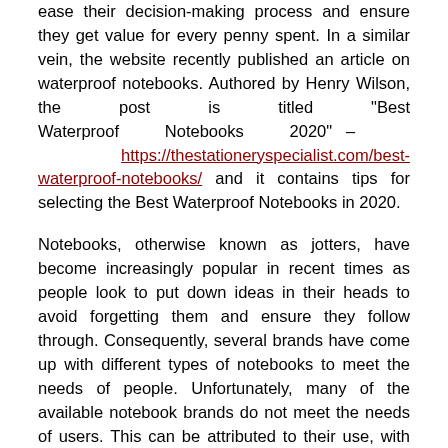ease their decision-making process and ensure they get value for every penny spent. In a similar vein, the website recently published an article on waterproof notebooks. Authored by Henry Wilson, the post is titled "Best Waterproof Notebooks 2020" – https://thestationeryspecialist.com/best-waterproof-notebooks/ and it contains tips for selecting the Best Waterproof Notebooks in 2020.
Notebooks, otherwise known as jotters, have become increasingly popular in recent times as people look to put down ideas in their heads to avoid forgetting them and ensure they follow through. Consequently, several brands have come up with different types of notebooks to meet the needs of people. Unfortunately, many of the available notebook brands do not meet the needs of users. This can be attributed to their use, with the environment and weather making it difficult for people to use notebooks, particularly when it is raining or they are in the shower. This was the case until the advent of waterproof notebooks